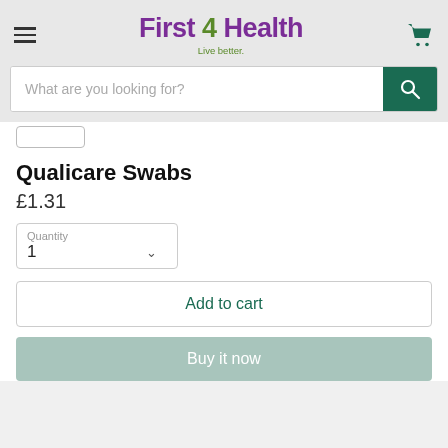First 4 Health — Live better.
What are you looking for?
Qualicare Swabs
£1.31
Quantity 1
Add to cart
Buy it now